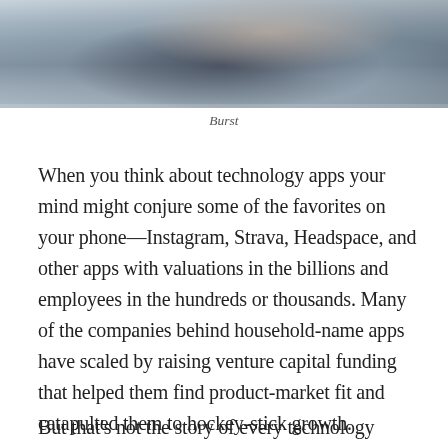[Figure (photo): A person in dark clothing using a phone or tablet, viewed from above/close-up, with blurred background.]
Burst
When you think about technology apps your mind might conjure some of the favorites on your phone—Instagram, Strava, Headspace, and other apps with valuations in the billions and employees in the hundreds or thousands. Many of the companies behind household-name apps have scaled by raising venture capital funding that helped them find product-market fit and catapulted them to hockey-stick growth.
But that's not the story of every technology